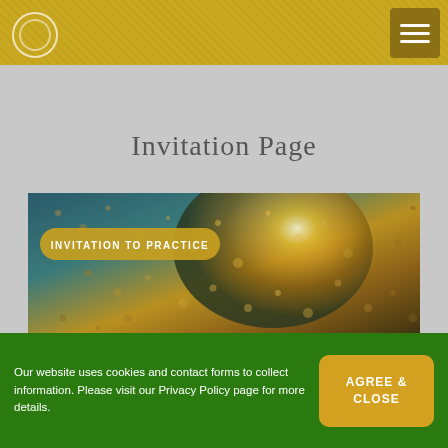Invitation Page
[Figure (photo): Photo of raindrops on glass with golden sunlight behind, overlaid with a golden pill-shaped button reading 'INVITATION TO PRACTICE']
Our website uses cookies and contact forms to collect information. Please visit our Privacy Policy page for more details.